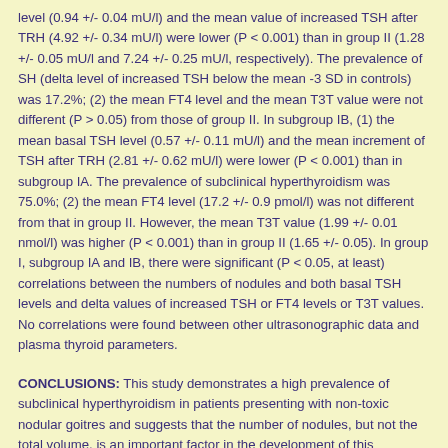level (0.94 +/- 0.04 mU/l) and the mean value of increased TSH after TRH (4.92 +/- 0.34 mU/l) were lower (P < 0.001) than in group II (1.28 +/- 0.05 mU/l and 7.24 +/- 0.25 mU/l, respectively). The prevalence of SH (delta level of increased TSH below the mean -3 SD in controls) was 17.2%; (2) the mean FT4 level and the mean T3T value were not different (P > 0.05) from those of group II. In subgroup IB, (1) the mean basal TSH level (0.57 +/- 0.11 mU/l) and the mean increment of TSH after TRH (2.81 +/- 0.62 mU/l) were lower (P < 0.001) than in subgroup IA. The prevalence of subclinical hyperthyroidism was 75.0%; (2) the mean FT4 level (17.2 +/- 0.9 pmol/l) was not different from that in group II. However, the mean T3T value (1.99 +/- 0.01 nmol/l) was higher (P < 0.001) than in group II (1.65 +/- 0.05). In group I, subgroup IA and IB, there were significant (P < 0.05, at least) correlations between the numbers of nodules and both basal TSH levels and delta values of increased TSH or FT4 levels or T3T values. No correlations were found between other ultrasonographic data and plasma thyroid parameters.
CONCLUSIONS: This study demonstrates a high prevalence of subclinical hyperthyroidism in patients presenting with non-toxic nodular goitres and suggests that the number of nodules, but not the total volume, is an important factor in the development of this condition.